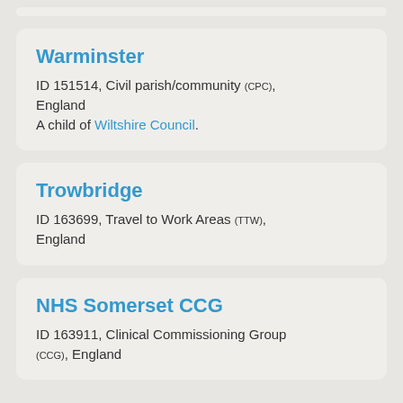Warminster
ID 151514, Civil parish/community (CPC), England
A child of Wiltshire Council.
Trowbridge
ID 163699, Travel to Work Areas (TTW), England
NHS Somerset CCG
ID 163911, Clinical Commissioning Group (CCG), England